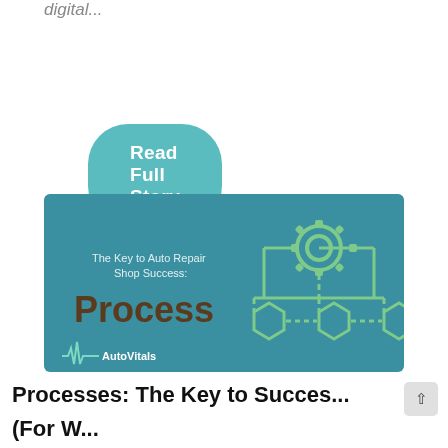digital...
Read Full Story
[Figure (illustration): AutoVitals branded banner image with teal background. Left side shows text: 'The Key to Auto Repair Shop Success: Process' in white and dark brown. Right side shows a green flowchart icon with a gear at top connected by dashed lines to three hexagons below. AutoVitals logo with heartbeat line at bottom left.]
Processes: The Key to Success...
(For Wh...